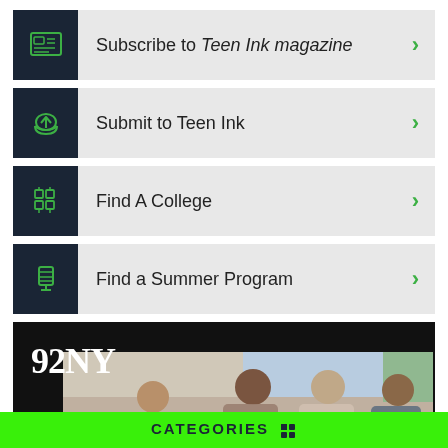Subscribe to Teen Ink magazine
Submit to Teen Ink
Find A College
Find a Summer Program
[Figure (photo): 92NY advertisement banner with logo and photo of people sitting and talking on a couch]
CATEGORIES